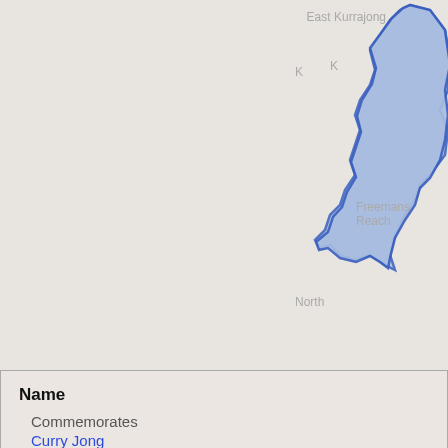[Figure (map): Map showing a highlighted blue region representing a local government area near East Kurrajong, Freemans Reach, and North areas in Australia]
Name
Commemorates
Curry Jong
Property
Administered by
Hawkesbury City Council
Part of
Hawkesbury local government area